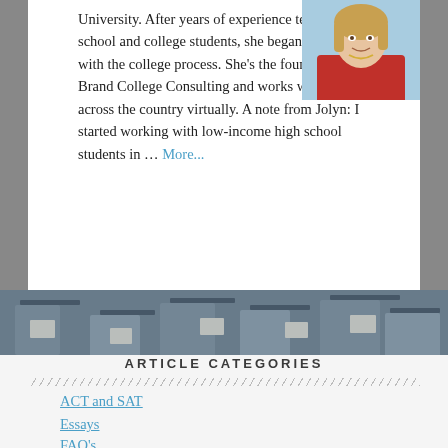University. After years of experience teaching high school and college students, she began assisting with the college process. She's the founder of Brand College Consulting and works with families across the country virtually. A note from Jolyn: I started working with low-income high school students in … More...
[Figure (photo): Portrait photo of a woman with blonde hair wearing a red blazer and pearl necklace, smiling, with a blue sky background]
[Figure (photo): Background photo of graduation ceremony with students in caps and gowns, blurred]
ARTICLE CATEGORIES
ACT and SAT
Essays
FAQ's